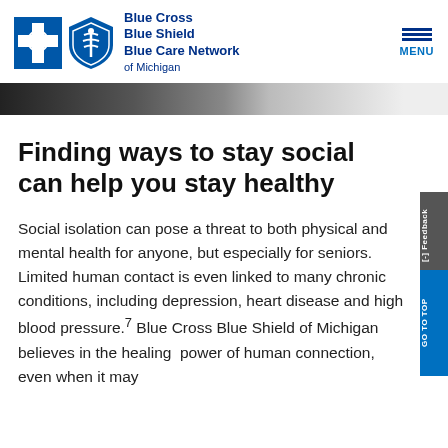[Figure (logo): Blue Cross Blue Shield Blue Care Network of Michigan logo with blue cross and blue shield icons]
Finding ways to stay social can help you stay healthy
Social isolation can pose a threat to both physical and mental health for anyone, but especially for seniors. Limited human contact is even linked to many chronic conditions, including depression, heart disease and high blood pressure.7 Blue Cross Blue Shield of Michigan believes in the healing power of human connection, even when it may